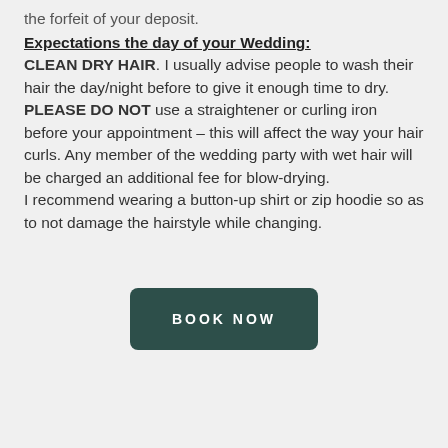the forfeit of your deposit.
Expectations the day of your Wedding:
CLEAN DRY HAIR. I usually advise people to wash their hair the day/night before to give it enough time to dry. PLEASE DO NOT use a straightener or curling iron before your appointment – this will affect the way your hair curls. Any member of the wedding party with wet hair will be charged an additional fee for blow-drying. I recommend wearing a button-up shirt or zip hoodie so as to not damage the hairstyle while changing.
BOOK NOW